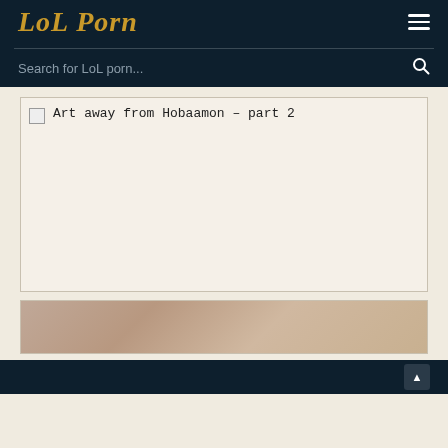LoL Porn
Search for LoL porn...
[Figure (illustration): Broken image placeholder with alt text 'Art away from Hobaamon – part 2', large beige/cream content area]
[Figure (illustration): Partially visible illustration showing a figure, cropped at bottom of page]